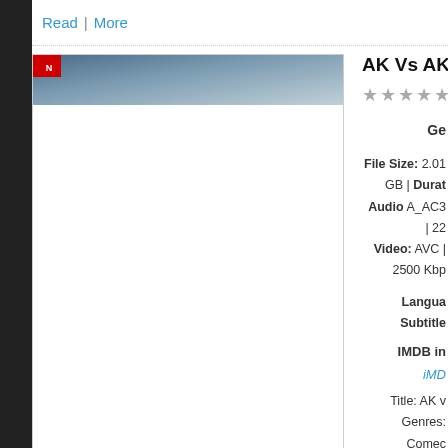Read | More
[Figure (photo): Movie thumbnail for AK Vs AK (2020), showing a partial image with a red logo in the top-left corner]
AK Vs AK (2020) 1080p HDRip X
★ ★ ★ ★ ★ (star rating, all grey)
Ge
File Size: 2.01 GB | Durat
Audio A_AC3 | 22
Video: AVC | 2500 Kbp
Langua
Subtitle
IMDB in
iMD
Title: AK v
Genres: Comec
Description: A filmmaker kidnaps the daughter